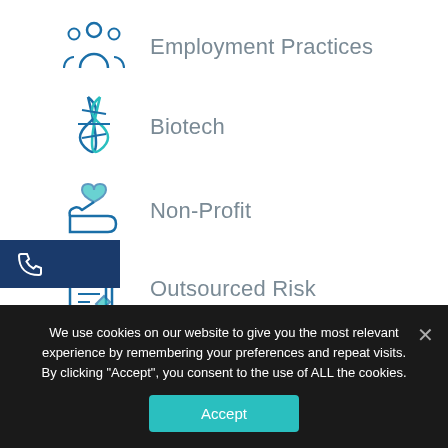Employment Practices
Biotech
Non-Profit
Outsourced Risk
Legal Practice
We use cookies on our website to give you the most relevant experience by remembering your preferences and repeat visits. By clicking “Accept”, you consent to the use of ALL the cookies.
Accept